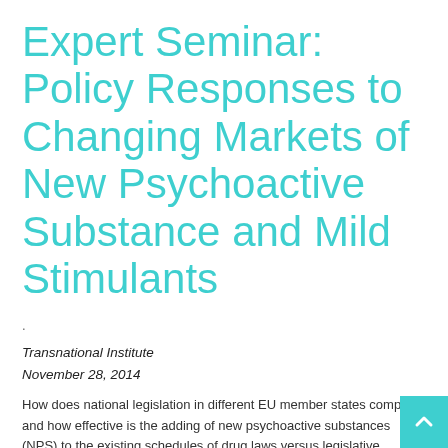Expert Seminar: Policy Responses to Changing Markets of New Psychoactive Substance and Mild Stimulants
.
Transnational Institute
November 28, 2014
How does national legislation in different EU member states compare, and how effective is the adding of new psychoactive substances (NPS) to the existing schedules of drug laws versus legislative experimentation designing new schedules or applying controls under medicines or consumer protection regulations? This report reflects the discussions that have taken place during the Expert Meeting on Policy